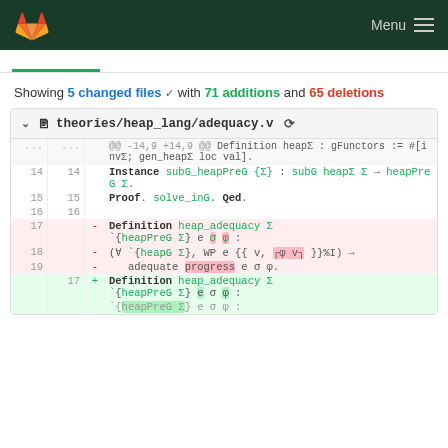GitLab — Menu
Showing 5 changed files with 71 additions and 65 deletions
theories/heap_lang/adequacy.v
| old | new | op | code |
| --- | --- | --- | --- |
| ... | ... |  | @@ -14,9 +14,9 @@ Definition heapΣ : gFunctors := #[invΣ; gen_heapΣ loc val]. |
| 14 | 14 |  | Instance subG_heapPreG {Σ} : subG heapΣ Σ → heapPreG Σ. |
| 15 | 15 |  | Proof. solve_inG. Qed. |
| 16 | 16 |  |  |
| 17 |  | - | Definition heap_adequacy Σ `{heapPreG Σ} e σ φ : |
| 18 |  | - | (∀ `{heapG Σ}, WP e {{ v, ⌜φ v⌝ }}%I) → |
| 19 |  | - | adequate progress e σ φ. |
|  | 17 | + | Definition heap_adequacy Σ `{heapPreG Σ} e σ φ : |
|  |  |  | {heapPreG Σ} e σ φ : |